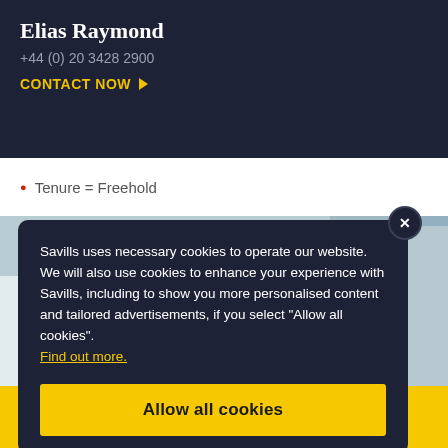Elias Raymond
+44 (0) 20 3428 2900
CONTACT NOW ▶
Tenure = Freehold
Savills uses necessary cookies to operate our website. We will also use cookies to enhance your experience with Savills, including to show you more personalised content and tailored advertisements, if you select "Allow all cookies". Find out more.
Allow all cookies
[Figure (photo): Exterior photo of a property with white facade and trees visible]
Request details